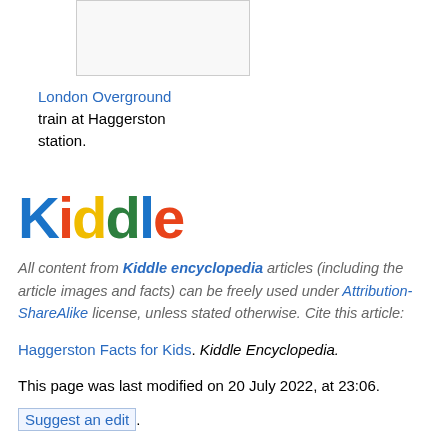[Figure (photo): Image placeholder showing a London Overground train at Haggerston station]
London Overground train at Haggerston station.
[Figure (logo): Kiddle encyclopedia logo with colorful letters]
All content from Kiddle encyclopedia articles (including the article images and facts) can be freely used under Attribution-ShareAlike license, unless stated otherwise. Cite this article:
Haggerston Facts for Kids. Kiddle Encyclopedia.
This page was last modified on 20 July 2022, at 23:06.
Suggest an edit.